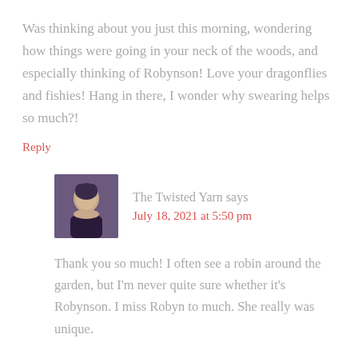Was thinking about you just this morning, wondering how things were going in your neck of the woods, and especially thinking of Robynson! Love your dragonflies and fishies! Hang in there, I wonder why swearing helps so much?!
Reply
[Figure (photo): Avatar photo of The Twisted Yarn blogger — a woman with dark hair in a formal setting]
The Twisted Yarn says
July 18, 2021 at 5:50 pm
Thank you so much! I often see a robin around the garden, but I'm never quite sure whether it's Robynson. I miss Robyn to much. She really was unique.